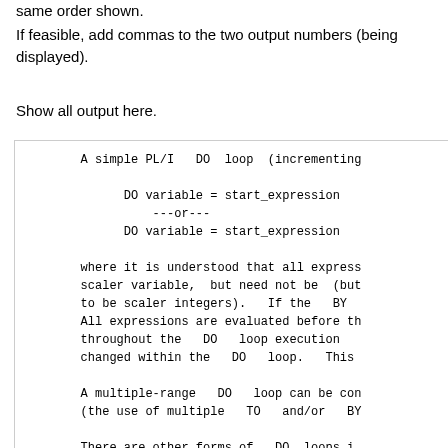same order shown.
If feasible, add commas to the two output numbers (being displayed).
Show all output here.
A simple PL/I   DO  loop  (incrementing

        DO variable = start_expression
            ---or---
        DO variable = start_expression

where it is understood that all express scaler variable,  but need not be  (but to be scaler integers).   If the   BY  All expressions are evaluated before th throughout the   DO   loop execution   changed within the   DO   loop.   This

A multiple-range   DO   loop can be con (the use of multiple   TO   and/or   BY

There are other forms of   DO  loops i needed here.   DO  loops without a   T